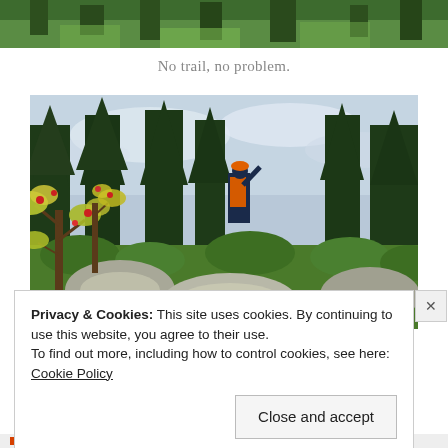[Figure (photo): Partial top view of green forested landscape, cropped strip at the top of the page]
No trail, no problem.
[Figure (photo): A hiker with an orange backpack stands in a rocky, forested wilderness landscape with green shrubs, lichen-covered rocks, and conifer trees in the background. Autumn-colored small shrubs are in the foreground.]
Privacy & Cookies: This site uses cookies. By continuing to use this website, you agree to their use.
To find out more, including how to control cookies, see here: Cookie Policy
Close and accept